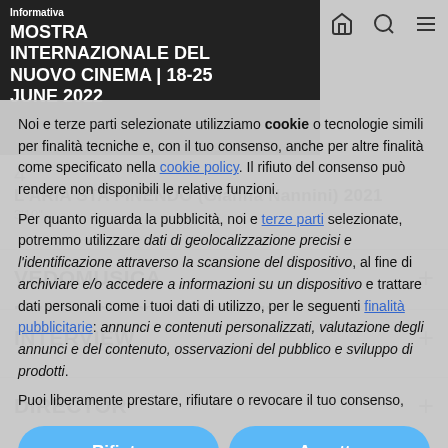Informativa
MOSTRA INTERNAZIONALE DEL NUOVO CINEMA | 18-25 JUNE 2022
Noi e terze parti selezionate utilizziamo cookie o tecnologie simili per finalità tecniche e, con il tuo consenso, anche per altre finalità come specificato nella cookie policy. Il rifiuto del consenso può rendere non disponibili le relative funzioni. Per quanto riguarda la pubblicità, noi e terze parti selezionate, potremmo utilizzare dati di geolocalizzazione precisi e l'identificazione attraverso la scansione del dispositivo, al fine di archiviare e/o accedere a informazioni su un dispositivo e trattare dati personali come i tuoi dati di utilizzo, per le seguenti finalità pubblicitarie: annunci e contenuti personalizzati, valutazione degli annunci e del contenuto, osservazioni del pubblico e sviluppo di prodotti. Puoi liberamente prestare, rifiutare o revocare il tuo consenso,
4 ... L'ARIA STA FINENDO (Gianna Nannini) 2021 3'10"
3 ... PRIVILEGIO RARO (Tutti Fenomeni) 2022 3'35"
VEDOMUSICA
INTERVIEW
Scopri di più e personalizza
DIRECTOR